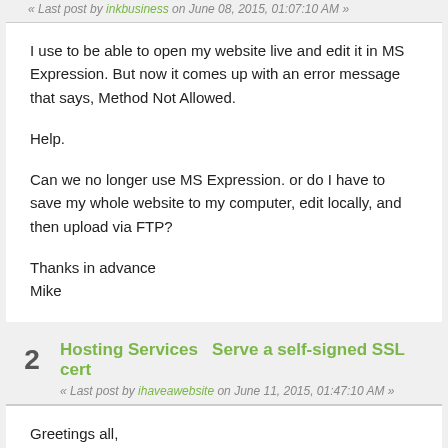« Last post by inkbusiness on June 08, 2015, 01:07:10 AM »
I use to be able to open my website live and edit it in MS Expression. But now it comes up with an error message that says, Method Not Allowed.
Help.
Can we no longer use MS Expression. or do I have to save my whole website to my computer, edit locally, and then upload via FTP?
Thanks in advance
Mike
2   Hosting Services   Serve a self-signed SSL cert
« Last post by ihaveawebsite on June 11, 2015, 01:47:10 AM »
Greetings all,